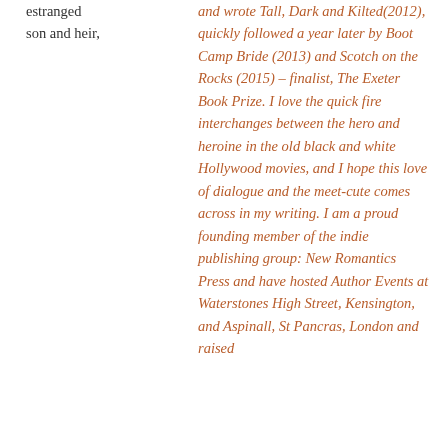estranged son and heir,
and wrote Tall, Dark and Kilted(2012), quickly followed a year later by Boot Camp Bride (2013) and Scotch on the Rocks (2015) – finalist, The Exeter Book Prize. I love the quick fire interchanges between the hero and heroine in the old black and white Hollywood movies, and I hope this love of dialogue and the meet-cute comes across in my writing. I am a proud founding member of the indie publishing group: New Romantics Press and have hosted Author Events at Waterstones High Street, Kensington, and Aspinall, St Pancras, London and raised